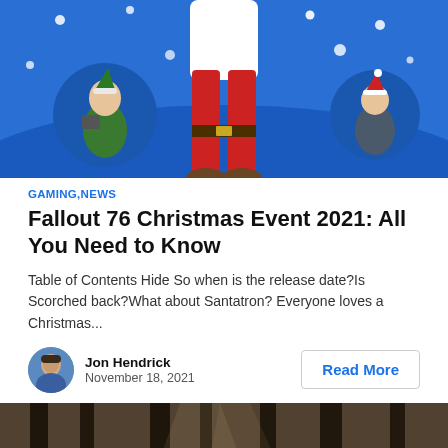[Figure (illustration): Fallout 76 Christmas event illustration with blue background, showing characters in holiday outfits including an elf on the left and a character on the right, with red-pants figure in the center and white snowflake dots]
GAMING,NEWS
Fallout 76 Christmas Event 2021: All You Need to Know
Table of Contents Hide So when is the release date?Is Scorched back?What about Santatron? Everyone loves a Christmas...
[Figure (photo): Author headshot of Jon Hendrick, a man with short dark hair]
Jon Hendrick
November 18, 2021
Read More
[Figure (photo): Forest game screenshot with moody, misty atmosphere, tall trees visible from below, dark and sepia-toned]